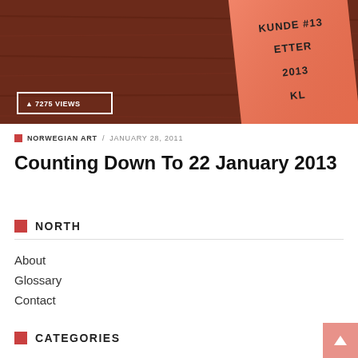[Figure (photo): Photo of an orange/salmon colored paper note on a dark wooden surface with handwritten text 'KUNDE #13 ETTER 2013 KL'. A badge overlay reads '7275 VIEWS'.]
NORWEGIAN ART / JANUARY 28, 2011
Counting Down To 22 January 2013
NORTH
About
Glossary
Contact
CATEGORIES